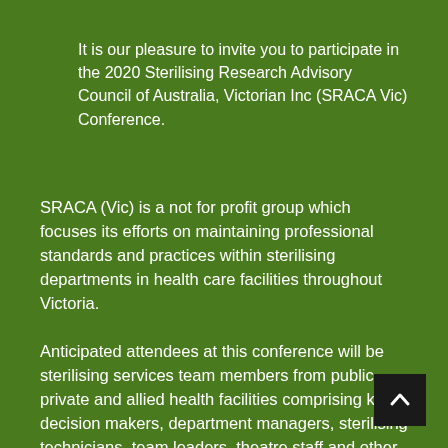It is our pleasure to invite you to participate in the 2020 Sterilising Research Advisory Council of Australia, Victorian Inc (SRACA Vic) Conference.
SRACA (Vic) is a not for profit group which focuses its efforts on maintaining professional standards and practices within sterilising departments in health care facilities throughout Victoria.
Anticipated attendees at this conference will be sterilising services team members from public, private and allied health facilities comprising key decision makers, department managers, sterilising technicians, team leaders, theatre staff and other interested healthcare personnel.
[Figure (other): Scroll-to-top button with upward arrow chevron on dark background]